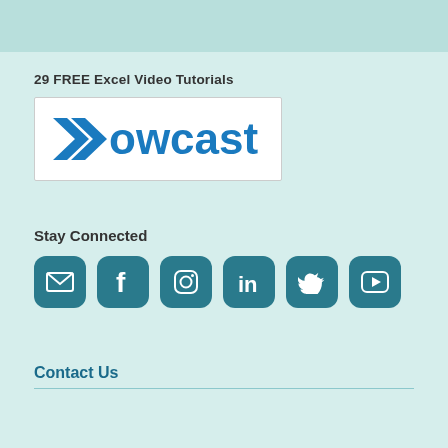29 FREE Excel Video Tutorials
[Figure (logo): Howcast logo - blue chevron arrows followed by text 'owcast' in blue]
Stay Connected
[Figure (infographic): Six social media icon buttons: email, Facebook, Instagram, LinkedIn, Twitter, YouTube]
Contact Us